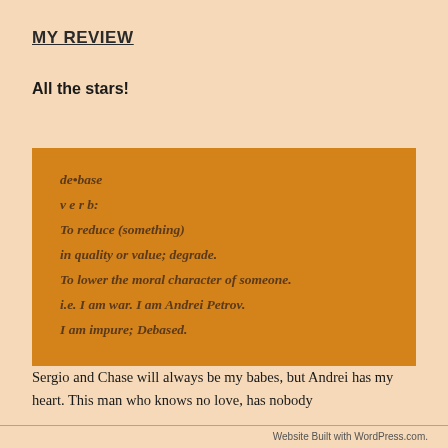MY REVIEW
All the stars!
[Figure (other): Orange box containing dictionary-style definition: de•base / v e r b: / To reduce (something) / in quality or value; degrade. / To lower the moral character of someone. / i.e. I am war. I am Andrei Petrov. / I am impure; Debased.]
Sergio and Chase will always be my babes, but Andrei has my heart. This man who knows no love, has nobody
Website Built with WordPress.com.